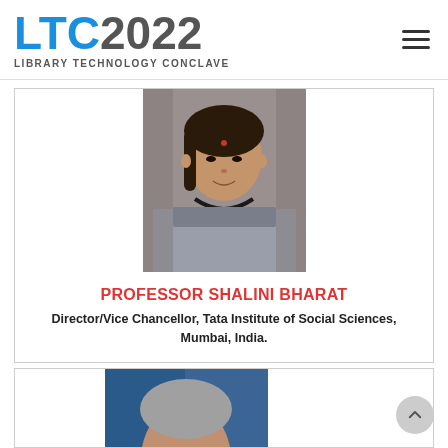LTC 2022 LIBRARY TECHNOLOGY CONCLAVE
[Figure (photo): Portrait photo of Professor Shalini Bharat, a woman in a grey saree with a black necklace, smiling, outdoors background]
PROFESSOR SHALINI BHARAT
Director/Vice Chancellor, Tata Institute of Social Sciences, Mumbai, India.
[Figure (photo): Partial portrait photo of a second speaker (male, grey hair), partially visible at bottom of page]